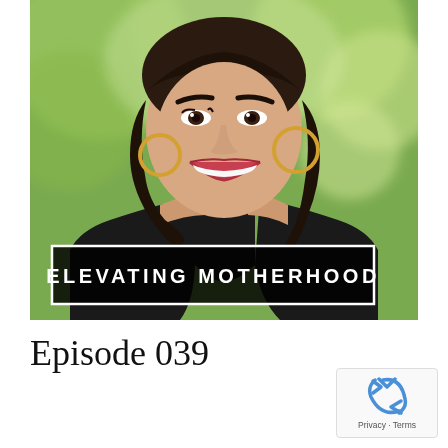[Figure (photo): A smiling woman with dark shoulder-length hair, wearing gold hoop earrings and a black off-shoulder top, photographed against a blurred green outdoor background. A logo box overlaid at the bottom reads 'ELEVATING MOTHERHOOD'.]
Episode 039
[Figure (logo): reCAPTCHA badge with recycling arrow icon and 'Privacy · Terms' text]